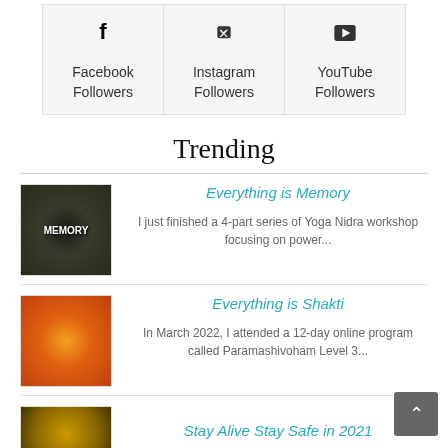[Figure (infographic): Social media followers panel with three columns: Facebook Followers (f icon), Instagram Followers (Twitter bird icon), YouTube Followers (YouTube play button icon), all on a light gray background]
Trending
[Figure (photo): Thumbnail image for 'Everything is Memory' article - dark image of a head with brain imagery and the word MEMORY]
Everything is Memory
I just finished a 4-part series of Yoga Nidra workshop focusing on power...
[Figure (photo): Thumbnail image for 'Everything is Shakti' article - colorful artwork of a deity figure]
Everything is Shakti
In March 2022, I attended a 12-day online program called Paramashivoham Level 3...
[Figure (photo): Thumbnail image for 'Stay Alive Stay Safe in 2021' article - partial view]
Stay Alive Stay Safe in 2021